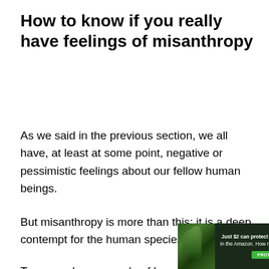How to know if you really have feelings of misanthropy
As we said in the previous section, we all have, at least at some point, negative or pessimistic feelings about our fellow human beings.
But misanthropy is more than this; it is a deep contempt for the human species in general.
To see a clear example of how a misanthrope
[Figure (other): Advertisement banner: dark forest background with green leaves imagery on left side, white text reading 'Just $2 can protect 1 acre of irreplaceable forest homes in the Amazon. How many acres are you willing to protect?' and a green 'PROTECT FORESTS NOW' button.]